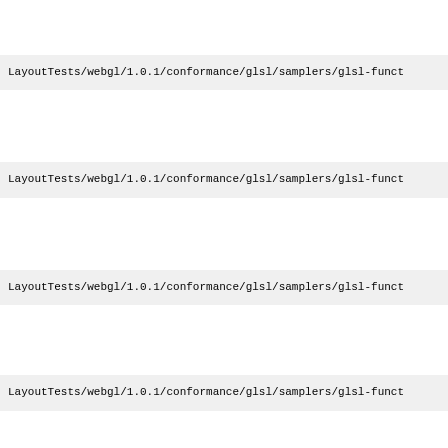LayoutTests/webgl/1.0.1/conformance/glsl/samplers/glsl-funct
LayoutTests/webgl/1.0.1/conformance/glsl/samplers/glsl-funct
LayoutTests/webgl/1.0.1/conformance/glsl/samplers/glsl-funct
LayoutTests/webgl/1.0.1/conformance/glsl/samplers/glsl-funct
LayoutTests/webgl/1.0.1/conformance/glsl/samplers/glsl-funct
LayoutTests/webgl/1.0.1/conformance/glsl/samplers/glsl-funct